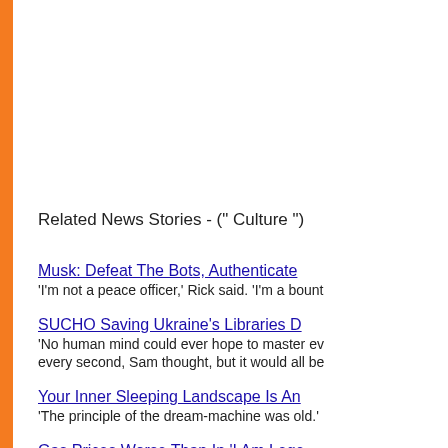Related News Stories - (" Culture ")
Musk: Defeat The Bots, Authenticate
'I'm not a peace officer,' Rick said. 'I'm a bount
SUCHO Saving Ukraine's Libraries D
'No human mind could ever hope to master ev every second, Sam thought, but it would all be
Your Inner Sleeping Landscape Is An
'The principle of the dream-machine was old.'
Gas Prices Worse Than In 'I Am Lege
Yes, I remember when gas was thirty cents pe inflation.